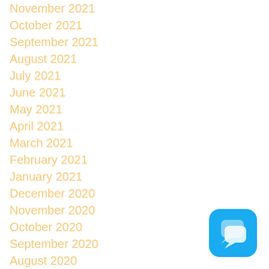November 2021
October 2021
September 2021
August 2021
July 2021
June 2021
May 2021
April 2021
March 2021
February 2021
January 2021
December 2020
November 2020
October 2020
September 2020
August 2020
[Figure (illustration): Blue rounded square chat icon with two overlapping speech bubble shapes in lighter blue/white]